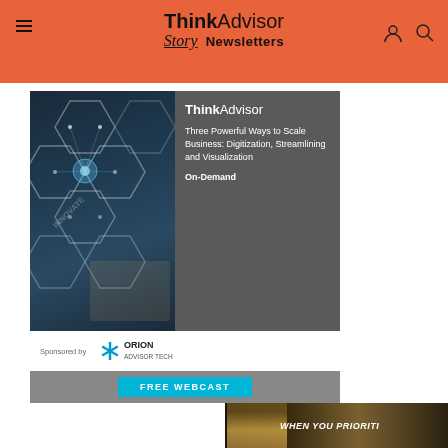ThinkAdvisor Story Newsletters
[Figure (screenshot): ThinkAdvisor advertisement for 'Three Powerful Ways to Scale Business: Digitization, Streamlining and Visualization' On-Demand free webcast, sponsored by Orion Advisor Tech]
[Figure (photo): Partial banner image at bottom showing a person on water with text 'WHEN YOU PRIORITI...']